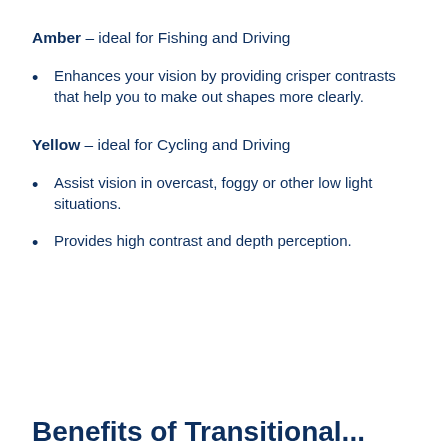Amber – ideal for Fishing and Driving
Enhances your vision by providing crisper contrasts that help you to make out shapes more clearly.
Yellow – ideal for Cycling and Driving
Assist vision in overcast, foggy or other low light situations.
Provides high contrast and depth perception.
Benefits of Transitional...